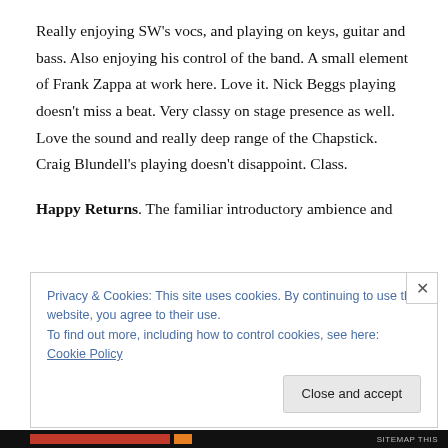Really enjoying SW's vocs, and playing on keys, guitar and bass. Also enjoying his control of the band. A small element of Frank Zappa at work here. Love it. Nick Beggs playing doesn't miss a beat. Very classy on stage presence as well. Love the sound and really deep range of the Chapstick. Craig Blundell's playing doesn't disappoint. Class.
Happy Returns. The familiar introductory ambience and
Privacy & Cookies: This site uses cookies. By continuing to use this website, you agree to their use.
To find out more, including how to control cookies, see here: Cookie Policy
Close and accept